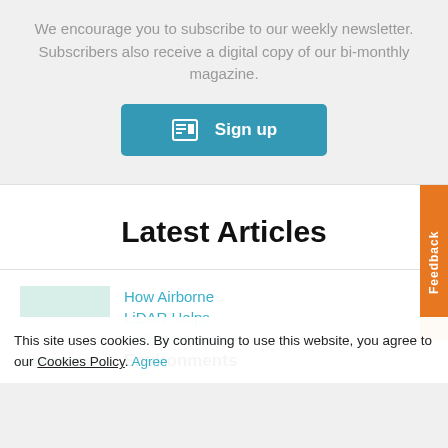We encourage you to subscribe to our weekly newsletter. Subscribers also receive a digital copy of our bi-monthly magazine.
[Figure (other): Teal 'Sign up' button with newspaper icon]
Latest Articles
[Figure (other): Feedback tab on right side, orange vertical tab]
How Airborne LiDAR Helps to Protect Marine Environments
This site uses cookies. By continuing to use this website, you agree to our Cookies Policy. Agree